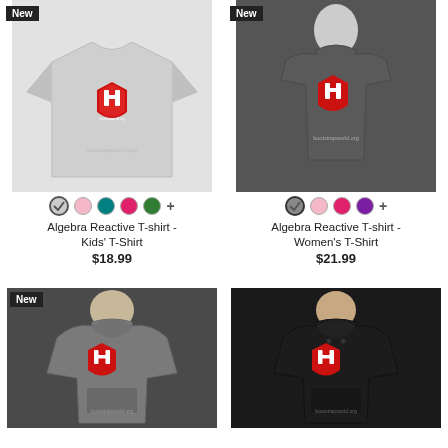[Figure (photo): Light gray kids' t-shirt with red shield logo and 'bootstrapworld.org' text, shown flat on model. 'New' badge in top left. Color swatches below: gray (selected), pink, teal, pink/magenta, green, plus more.]
Algebra Reactive T-shirt - Kids' T-Shirt
$18.99
[Figure (photo): Dark gray women's t-shirt with red shield logo and 'bootstrapworld.org' text, shown on female model. 'New' badge in top left. Color swatches below: gray (selected), pink, magenta, purple, plus more.]
Algebra Reactive T-shirt - Women's T-Shirt
$21.99
[Figure (photo): Gray hoodie with red shield logo and 'bootstrapworld.org' text, shown on male model. 'New' badge in top left.]
[Figure (photo): Black hoodie with red shield logo and 'bootstrapworld.org' text, shown on female model.]